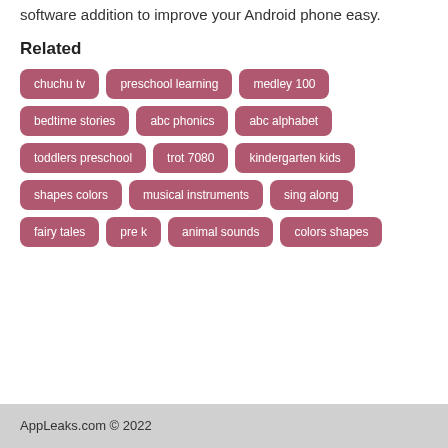software addition to improve your Android phone easy.
Related
chuchu tv
preschool learning
medley 100
bedtime stories
abc phonics
abc alphabet
toddlers preschool
trot 7080
kindergarten kids
shapes colors
musical instruments
sing along
fairy tales
pre k
animal sounds
colors shapes
AppLeaks.com © 2022